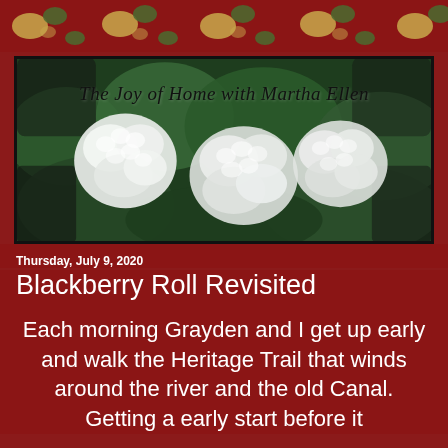[Figure (photo): Blog header image with white hydrangea flowers against green foliage, with cursive text overlay reading 'The Joy of Home with Martha Ellen']
Thursday, July 9, 2020
Blackberry Roll Revisited
Each morning Grayden and I get up early and walk the Heritage Trail that winds around the river and the old Canal. Getting a early start before it